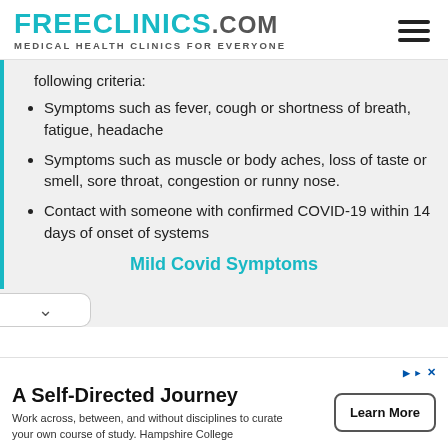FREECLINICS.COM — Medical Health Clinics For Everyone
following criteria:
Symptoms such as fever, cough or shortness of breath, fatigue, headache
Symptoms such as muscle or body aches, loss of taste or smell, sore throat, congestion or runny nose.
Contact with someone with confirmed COVID-19 within 14 days of onset of systems
Mild Covid Symptoms
A Self-Directed Journey
Work across, between, and without disciplines to curate your own course of study. Hampshire College